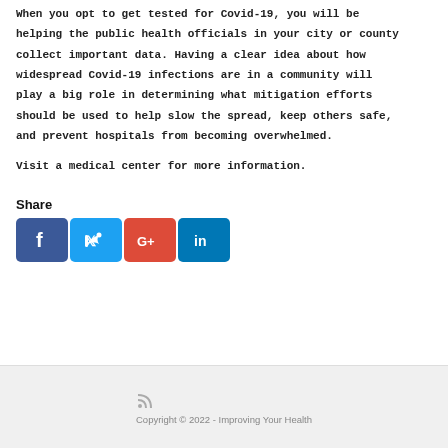When you opt to get tested for Covid-19, you will be helping the public health officials in your city or county collect important data. Having a clear idea about how widespread Covid-19 infections are in a community will play a big role in determining what mitigation efforts should be used to help slow the spread, keep others safe, and prevent hospitals from becoming overwhelmed.
Visit a medical center for more information.
Share
[Figure (infographic): Social media share buttons for Facebook, Twitter, Google+, and LinkedIn]
Copyright © 2022 - Improving Your Health